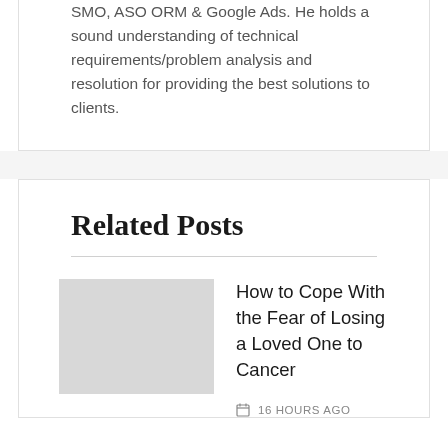SMO, ASO ORM & Google Ads. He holds a sound understanding of technical requirements/problem analysis and resolution for providing the best solutions to clients.
Related Posts
How to Cope With the Fear of Losing a Loved One to Cancer
16 HOURS AGO